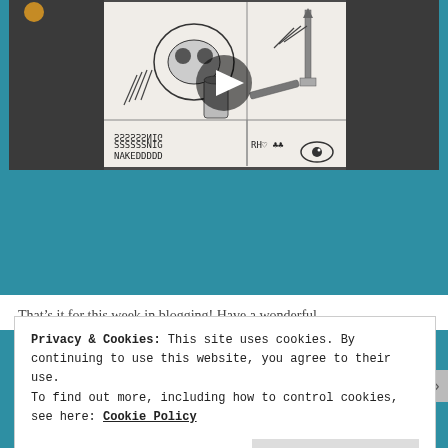[Figure (screenshot): Video thumbnail showing a hand-drawn sketch of skulls, hands, bones, a dagger, an eye, and text reading 'SSSSSSMIG NAKEDDDDD RH$1' with a play button overlay.]
That’s it for this week in blogging! Have a wonderful
Privacy & Cookies: This site uses cookies. By continuing to use this website, you agree to their use.
To find out more, including how to control cookies, see here: Cookie Policy
Close and accept